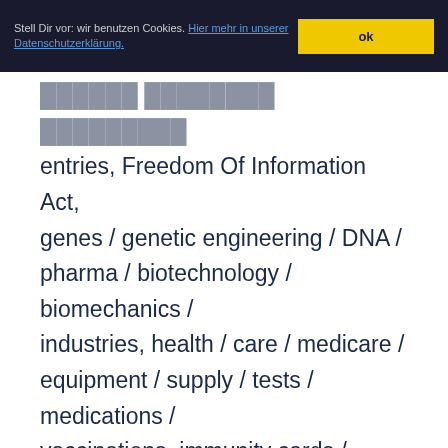Stell Dir vor: wir benutzen Cookies. Hier mehr in unserer Datenschutzerklärung. ok
entries, Freedom Of Information Act, genes / genetic engineering / DNA / pharma / biotechnology / biomechanics / industries, health / care / medicare / equipment / supply / tests / medications / vaccinations, immunity cards / vaccination passports, medicine / drugs / vaccines, programs (institutions / hierarchies / computers), Robert F. Kennedy Jr., Ron Johnson, senators, state (rulers / regimes / governments / elites / corporations /